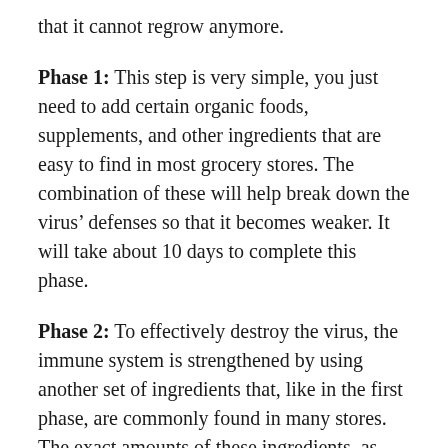that it cannot regrow anymore.
Phase 1: This step is very simple, you just need to add certain organic foods, supplements, and other ingredients that are easy to find in most grocery stores. The combination of these will help break down the virus' defenses so that it becomes weaker. It will take about 10 days to complete this phase.
Phase 2: To effectively destroy the virus, the immune system is strengthened by using another set of ingredients that, like in the first phase, are commonly found in many stores. The exact amounts of these ingredients, as well as how frequent to take them, in what forms, and when, are listed down in the program in an easy to read format. This is completed in about 13 days, after which you should be